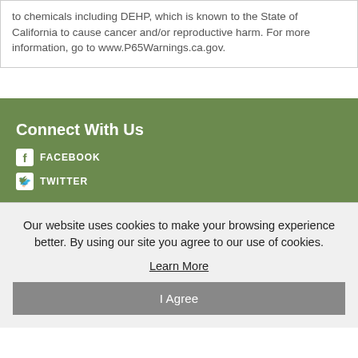to chemicals including DEHP, which is known to the State of California to cause cancer and/or reproductive harm. For more information, go to www.P65Warnings.ca.gov.
Connect With Us
FACEBOOK
TWITTER
Our website uses cookies to make your browsing experience better. By using our site you agree to our use of cookies.
Learn More
I Agree